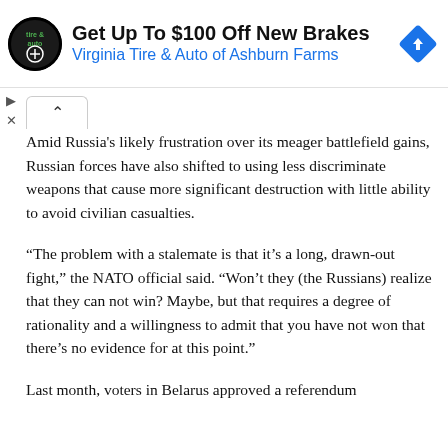[Figure (other): Advertisement banner for Virginia Tire & Auto of Ashburn Farms offering Get Up To $100 Off New Brakes, with circular logo and blue navigation arrow icon]
Amid Russia's likely frustration over its meager battlefield gains, Russian forces have also shifted to using less discriminate weapons that cause more significant destruction with little ability to avoid civilian casualties.
“The problem with a stalemate is that it’s a long, drawn-out fight,” the NATO official said. “Won’t they (the Russians) realize that they can not win? Maybe, but that requires a degree of rationality and a willingness to admit that you have not won that there’s no evidence for at this point.”
Last month, voters in Belarus approved a referendum